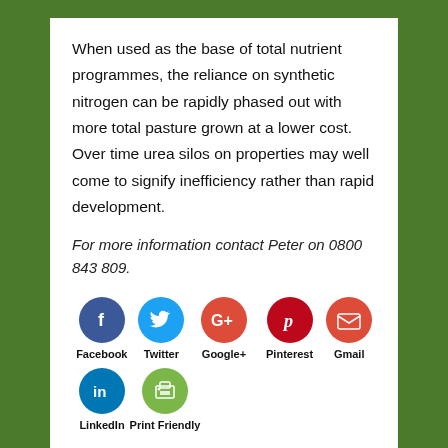When used as the base of total nutrient programmes, the reliance on synthetic nitrogen can be rapidly phased out with more total pasture grown at a lower cost.  Over time urea silos on properties may well come to signify inefficiency rather than rapid development.
For more information contact Peter on 0800 843 809.
[Figure (infographic): Social media sharing buttons: Facebook (blue circle with f), Twitter (light blue circle with bird), Google+ (red-orange circle with G+), Pinterest (dark red circle with P), Gmail (red-orange circle with envelope), LinkedIn (blue circle with in), Print Friendly (green circle with printer icon). Each icon has its label below.]